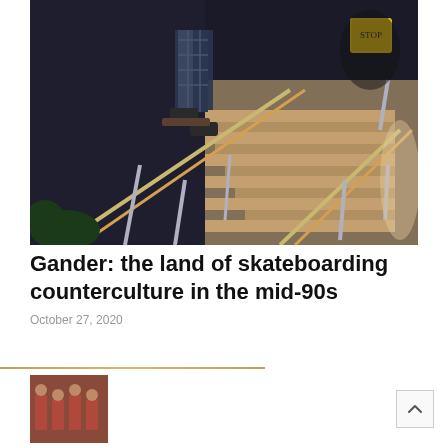[Figure (photo): Skateboarder performing a grind on a metal handrail alongside concrete stairs at night. The skater wears plaid pants and skate shoes. Yellow diamond-shaped sign visible in the upper background. Metal railings diagonal across the frame.]
Gander: the land of skateboarding counterculture in the mid-90s
October 27, 2020
[Figure (photo): Small thumbnail image of a group of people posing together indoors, wearing red clothing.]